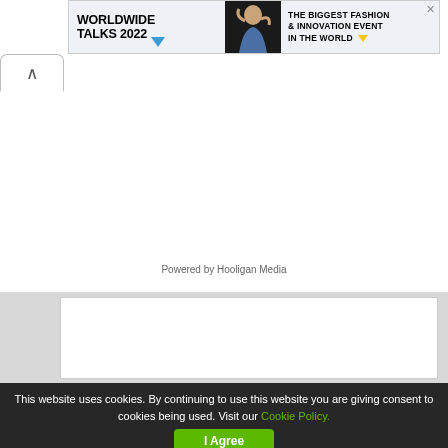[Figure (other): Worldwide Talks 2022 advertisement banner with model photo, text 'THE BIGGEST FASHION & INNOVATION EVENT IN THE WORLD' and a close button X]
[Figure (other): Chevron/up arrow button in a rounded tab box]
Powered by Hooligan Media
[Figure (other): Advertisement banner with cursor/hand icons and text 'got clicks?' on gray background]
This website uses cookies. By continuing to use this website you are giving consent to cookies being used. Visit our Cookie Policy.
I Agree